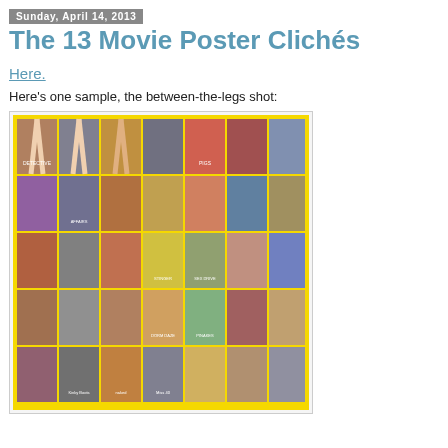Sunday, April 14, 2013
The 13 Movie Poster Clichés
Here.
Here's one sample, the between-the-legs shot:
[Figure (photo): A collage of movie posters all featuring the 'between-the-legs' shot cliché, arranged in a grid with a yellow border.]